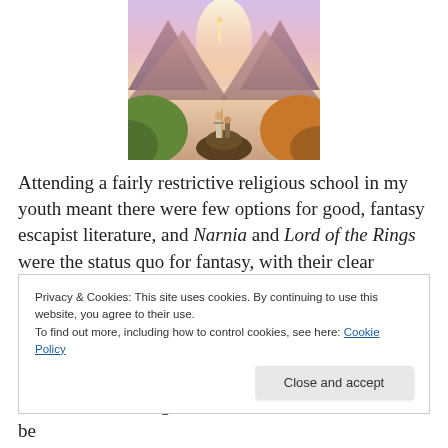[Figure (illustration): Fantasy illustration showing two figures standing on a rocky outcrop overlooking a glowing distant castle amid pink and purple mountains with lush green and autumn-colored foliage in the foreground]
Attending a fairly restrictive religious school in my youth meant there were few options for good, fantasy escapist literature, and Narnia and Lord of the Rings were the status quo for fantasy, with their clear delineation of good
Privacy & Cookies: This site uses cookies. By continuing to use this website, you agree to their use.
To find out more, including how to control cookies, see here: Cookie Policy
know that revisiting the loves of one's childhood can be